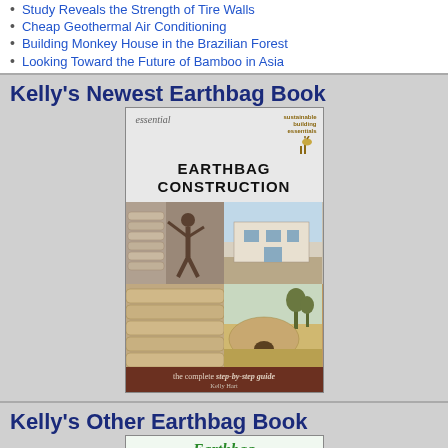Study Reveals the Strength of Tire Walls
Cheap Geothermal Air Conditioning
Building Monkey House in the Brazilian Forest
Looking Toward the Future of Bamboo in Asia
Kelly's Newest Earthbag Book
[Figure (photo): Book cover of 'Essential Earthbag Construction: the complete step-by-step guide' by Kelly Hart, part of the Sustainable Building Essentials series. Cover shows four photos of earthbag construction techniques and completed structures.]
Kelly's Other Earthbag Book
[Figure (photo): Partial book cover showing 'Earthbag Architecture' with green mountain landscape background.]